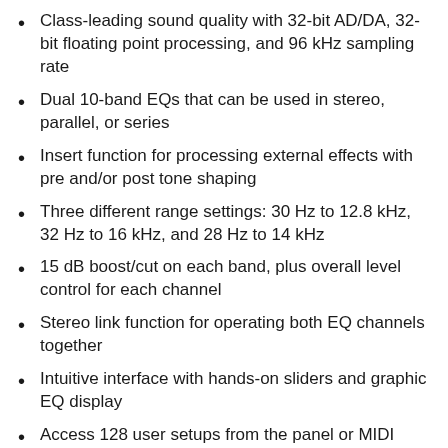Class-leading sound quality with 32-bit AD/DA, 32-bit floating point processing, and 96 kHz sampling rate
Dual 10-band EQs that can be used in stereo, parallel, or series
Insert function for processing external effects with pre and/or post tone shaping
Three different range settings: 30 Hz to 12.8 kHz, 32 Hz to 16 kHz, and 28 Hz to 14 kHz
15 dB boost/cut on each band, plus overall level control for each channel
Stereo link function for operating both EQ channels together
Intuitive interface with hands-on sliders and graphic EQ display
Access 128 user setups from the panel or MIDI program change
Recall consecutive memories plus real-time panel setting via footswitch or dedicated panel button
Panel Lock function disables controls to prevent